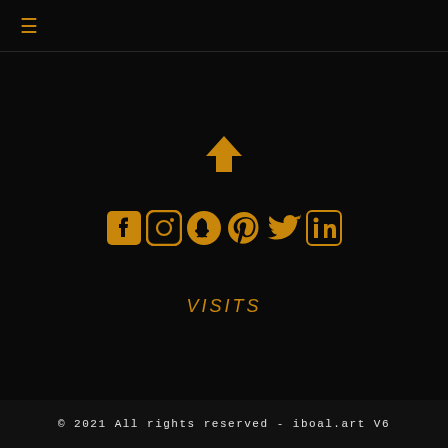≡
[Figure (illustration): Up arrow icon in orange/gold color]
[Figure (illustration): Social media icons row: Facebook, Instagram, Snapchat, Pinterest, Twitter, LinkedIn — all in orange/gold]
VISITS
© 2021 All rights reserved - iboal.art V6